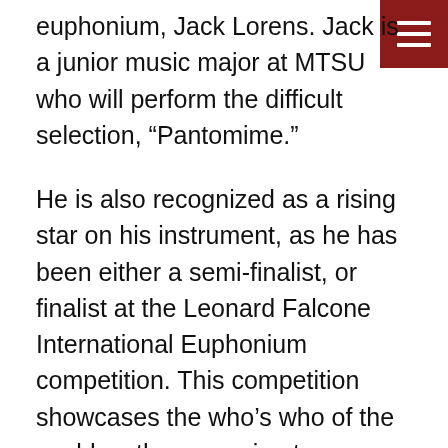euphonium, Jack Lorens. Jack is a junior music major at MTSU who will perform the difficult selection, “Pantomime.”
He is also recognized as a rising star on his instrument, as he has been either a semi-finalist, or finalist at the Leonard Falcone International Euphonium competition. This competition showcases the who’s who of the world as the upcoming top instrumentalists on the euphonium.
The euphonium is a member of the tuba family, and is often a solo instrument in brass band arrangements.
Other music for this concert in addition